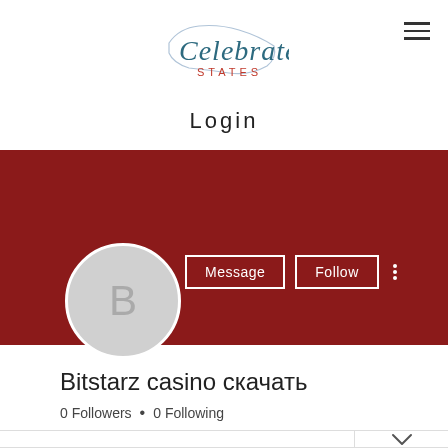[Figure (logo): Celebrate States logo: script text 'Celebrate' over block text 'STATES' with outline of USA map in teal/red]
Login
[Figure (infographic): Dark red banner profile header with Message and Follow buttons and three-dot menu, and a circular avatar with letter B]
Bitstarz casino скачать
0 Followers • 0 Following